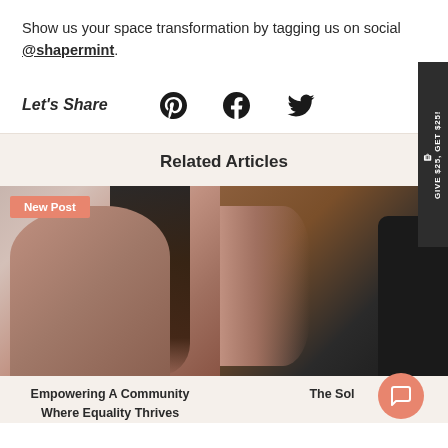Show us your space transformation by tagging us on social @shapermint.
Let's Share
[Figure (other): Social share icons: Pinterest, Facebook, Twitter]
Related Articles
[Figure (photo): Photo of a plus-size woman in brown shapewear bra top, looking over her shoulder, with long dark wavy hair, against a light background. Badge: New Post]
[Figure (photo): Partial photo of a woman in dark shapewear against a brown background]
Empowering A Community Where Equality Thrives
The Sol...